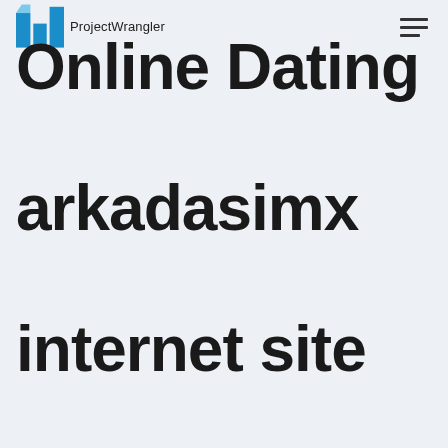ProjectWrangler
Online Dating arkadasimx internet site